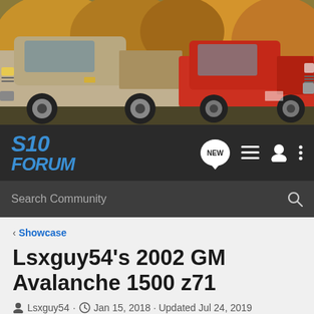[Figure (photo): Banner photo showing two trucks: a silver/tan modern Chevrolet S10 on the left and a red classic Chevrolet S10 on the right, set against an autumn foliage background.]
S10 Forum — navigation bar with NEW, menu, user, and more icons, plus Search Community search bar
< Showcase
Lsxguy54's 2002 GM Avalanche 1500 z71
Lsxguy54 · Jan 15, 2018 · Updated Jul 24, 2019
+ Follow